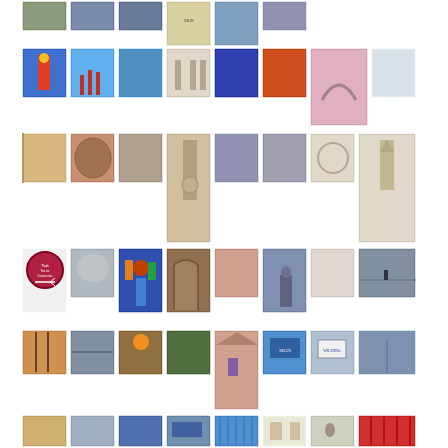[Figure (photo): Grid collage of multiple thumbnail photographs arranged in rows, showing various subjects including amusement park structures, churches, stained glass, landscapes, signs, and architectural details.]